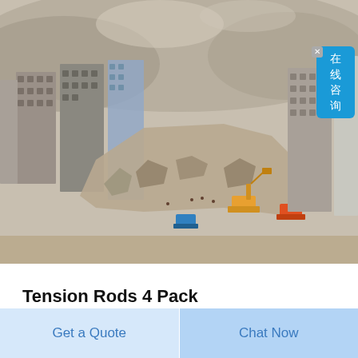[Figure (photo): Aerial view of earthquake or landslide disaster zone showing collapsed and damaged multi-story buildings amid rubble and debris, with excavators and rescue machinery visible in the center foreground, mountains visible in the background with haze/smoke]
Tension Rods 4 Pack
Get a Quote
Chat Now